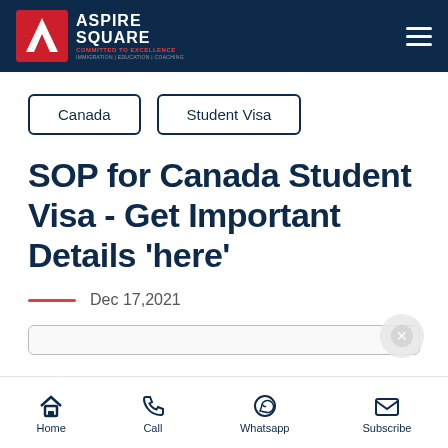ASPIRE SQUARE — IMMIGRATION | EDUCATION | COACHING
Canada
Student Visa
SOP for Canada Student Visa - Get Important Details 'here'
Dec 17,2021
Home | Call | Whatsapp | Subscribe